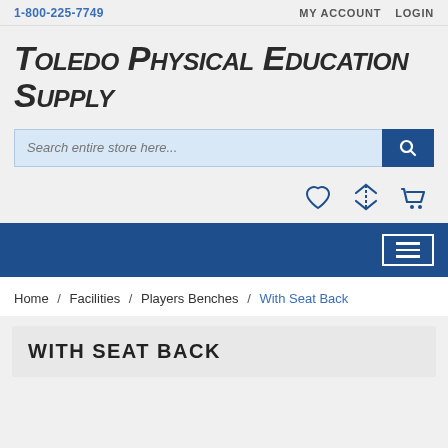1-800-225-7749   MY ACCOUNT   LOGIN
Toledo Physical Education Supply
Search entire store here...
Navigation breadcrumb: Home / Facilities / Players Benches / With Seat Back
WITH SEAT BACK